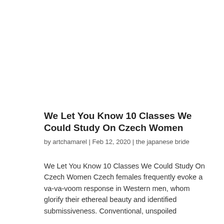We Let You Know 10 Classes We Could Study On Czech Women
by artchamarel | Feb 12, 2020 | the japanese bride
We Let You Know 10 Classes We Could Study On Czech Women Czech females frequently evoke a va-va-voom response in Western men, whom glorify their ethereal beauty and identified submissiveness. Conventional, unspoiled